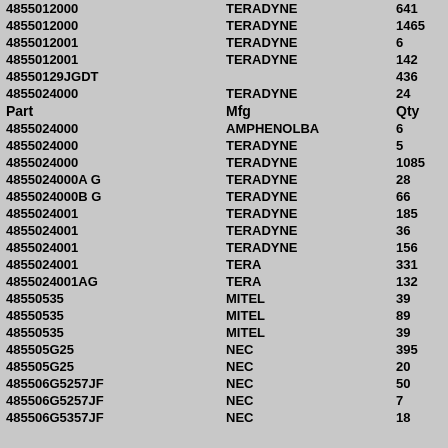| Part | Mfg | Qty |
| --- | --- | --- |
| 4855012000 | TERADYNE | 641 |
| 4855012000 | TERADYNE | 1465 |
| 4855012001 | TERADYNE | 6 |
| 4855012001 | TERADYNE | 142 |
| 48550129JGDT |  | 436 |
| 4855024000 | TERADYNE | 24 |
| Part | Mfg | Qty |
| 4855024000 | AMPHENOLBA | 6 |
| 4855024000 | TERADYNE | 5 |
| 4855024000 | TERADYNE | 1085 |
| 4855024000A G | TERADYNE | 28 |
| 4855024000B G | TERADYNE | 66 |
| 4855024001 | TERADYNE | 185 |
| 4855024001 | TERADYNE | 36 |
| 4855024001 | TERADYNE | 156 |
| 4855024001 | TERA | 331 |
| 4855024001AG | TERA | 132 |
| 48550535 | MITEL | 39 |
| 48550535 | MITEL | 89 |
| 48550535 | MITEL | 39 |
| 485505G25 | NEC | 395 |
| 485505G25 | NEC | 20 |
| 485506G5257JF | NEC | 50 |
| 485506G5257JF | NEC | 7 |
| 485506G5357JF | NEC | 18 |